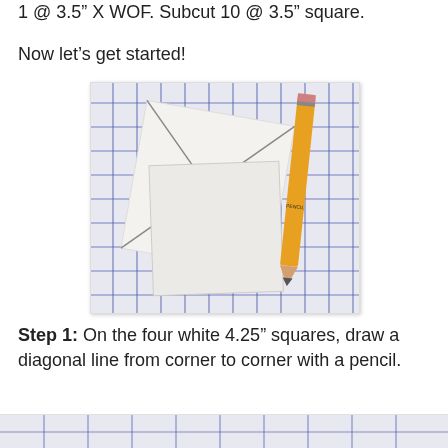1 @ 3.5" X WOF.  Subcut 10 @ 3.5" square.
Now let's get started!
[Figure (photo): Photo showing white fabric squares with diagonal pencil lines drawn corner to corner, placed on a blue grid cutting mat alongside a yellow pencil.]
Step 1:  On the four white 4.25" squares, draw a diagonal line from corner to corner with a pencil.